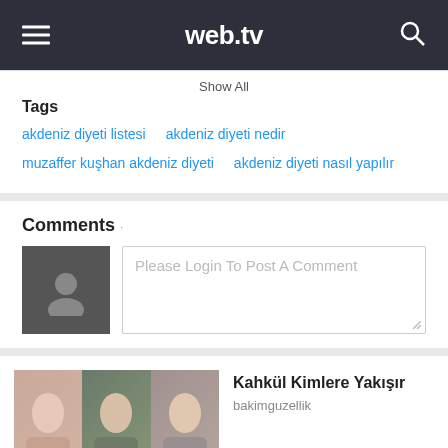web.tv
Show All
Tags
akdeniz diyeti listesi   akdeniz diyeti nedir   muzaffer kuşhan akdeniz diyeti   akdeniz diyeti nasıl yapılır
Comments
Please Login To Post A Comment
Kahkül Kimlere Yakışır
bakimguzellik
00:01:02